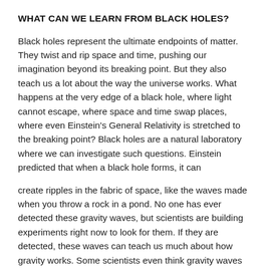WHAT CAN WE LEARN FROM BLACK HOLES?
Black holes represent the ultimate endpoints of matter. They twist and rip space and time, pushing our imagination beyond its breaking point. But they also teach us a lot about the way the universe works. What happens at the very edge of a black hole, where light cannot escape, where space and time swap places, where even Einstein’s General Relativity is stretched to the breaking point? Black holes are a natural laboratory where we can investigate such questions. Einstein predicted that when a black hole forms, it can
create ripples in the fabric of space, like the waves made when you throw a rock in a pond. No one has ever detected these gravity waves, but scientists are building experiments right now to look for them. If they are detected, these waves can teach us much about how gravity works. Some scientists even think gravity waves were made in the Big Bang. If we can detect these waves, it will be like looking back all the way to time